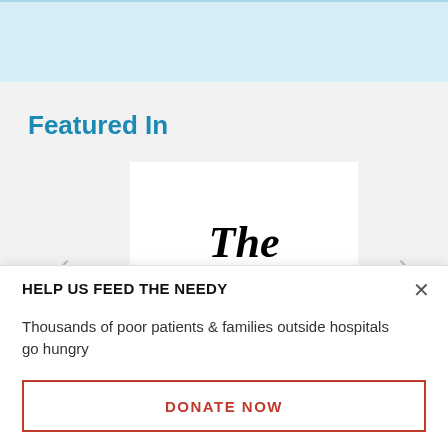[Figure (other): Top light blue banner area, partial view of content above]
Featured In
[Figure (logo): The Telegraph newspaper logo in blackletter/gothic typeface, shown in a white card in a carousel. Left and right navigation arrows visible on either side.]
HELP US FEED THE NEEDY
Thousands of poor patients & families outside hospitals go hungry
DONATE NOW